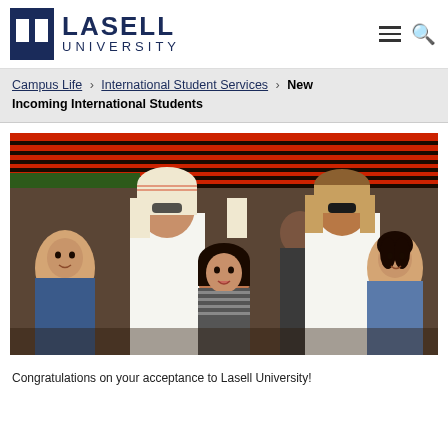[Figure (logo): Lasell University logo with stylized U and text LASELL UNIVERSITY]
Campus Life › International Student Services › New Incoming International Students
[Figure (photo): Group photo of international students posing together inside a tent with decorative fabric background. Six students visible including two wearing traditional Saudi dress.]
Congratulations on your acceptance to Lasell University!